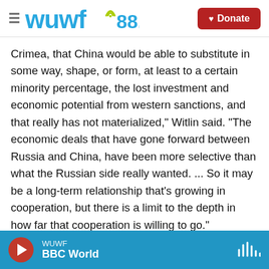WUWF 88.1 — Donate
Crimea, that China would be able to substitute in some way, shape, or form, at least to a certain minority percentage, the lost investment and economic potential from western sanctions, and that really has not materialized," Witlin said. "The economic deals that have gone forward between Russia and China, have been more selective than what the Russian side really wanted. ... So it may be a long-term relationship that's growing in cooperation, but there is a limit to the depth in how far that cooperation is willing to go."
Putin and China's President Xi Jinping met earlier
WUWF — BBC World